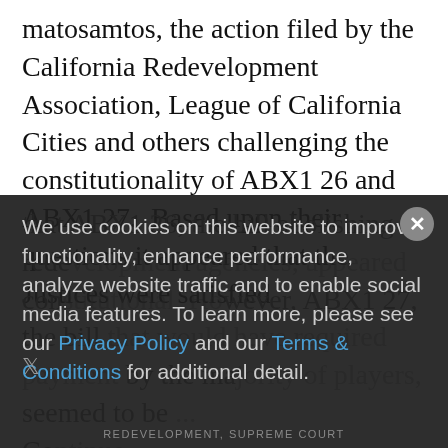matosamtos, the action filed by the California Redevelopment Association, League of California Cities and others challenging the constitutionality of ABX1 26 and ABX1 27.  Based upon their questions it appeared that the Justices were satisfied that ABX1 26, the bill abolishing redevelopment agencies, appeared constitutional. However, ABX1 27, the bill that would have required payment by the majority of players, seemed to be ... Continue
We use cookies on this website to improve functionality, enhance performance, analyze website traffic and to enable social media features. To learn more, please see our Privacy Policy and our Terms & Conditions for additional detail.
REDEVELOPMENT, SUPREME COURT